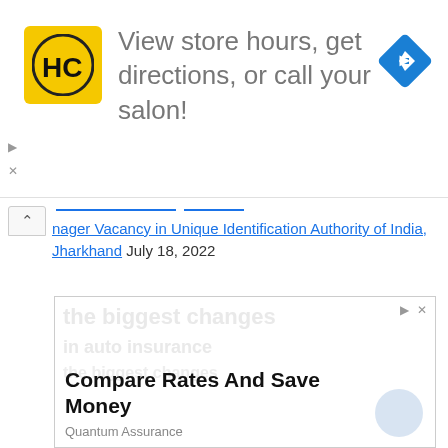[Figure (infographic): Advertisement banner: HC salon logo (yellow square with HC initials), text 'View store hours, get directions, or call your salon!', blue diamond navigation icon on the right, with play and close controls on the left]
nager Vacancy in Unique Identification Authority of India, Jharkhand July 18, 2022
[Figure (infographic): Advertisement box with watermark background text and foreground text 'Compare Rates And Save Money' by Quantum Assurance, with a light blue circle icon, and ad controls (play/close) at top right]